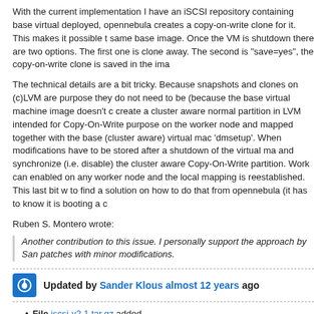With the current implementation I have an iSCSI repository containing base virtual deployed, opennebula creates a copy-on-write clone for it. This makes it possible to same base image. Once the VM is shutdown there are two options. The first one is clone away. The second is "save=yes", the copy-on-write clone is saved in the ima
The technical details are a bit tricky. Because snapshots and clones on (c)LVM are purpose they do not need to be (because the base virtual machine image doesn't c create a cluster aware normal partition in LVM intended for Copy-On-Write purpose on the worker node and mapped together with the base (cluster aware) virtual mac 'dmsetup'. When modifications have to be stored after a shutdown of the virtual ma and synchronize (i.e. disable) the cluster aware Copy-On-Write partition. Work can enabled on any worker node and the local mapping is reestablished. This last bit w to find a solution on how to do that from opennebula (it has to know it is booting a c
Ruben S. Montero wrote:
Another contribution to this issue. I personally support the approach by San patches with minor modifications.
Updated by Sander Klous almost 12 years ago
File iscsi-v2.1.tar.gz added
File one-diffs-v1.1.tar.gz added
Sander Klous wrote:
Work can continue when the Copy-On-Write image is enabled on any worke reestablished. This last bit works when I do it by hand, but I am still trying to from opennebula (it has to know it is booting a cow-image somehow).
This is now working. In fact, COW images are recursive. So, you can modify the or (which in fact is a COW clone with modifications of the original), will result in anoth